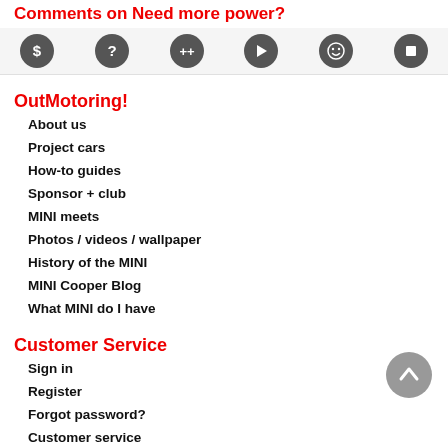Comments on Need more power?
[Figure (infographic): Navigation icon bar with 6 circular icons: dollar sign, question mark, plus-plus, play/media, smiley face, stop/square]
OutMotoring!
About us
Project cars
How-to guides
Sponsor + club
MINI meets
Photos / videos / wallpaper
History of the MINI
MINI Cooper Blog
What MINI do I have
Customer Service
Sign in
Register
Forgot password?
Customer service
Shipping + delivery
Returns + exchange policy